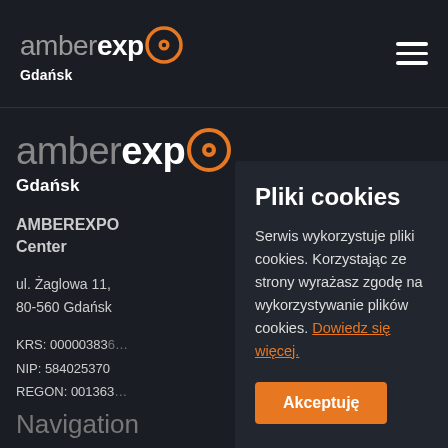amberexpo Gdańsk [header with hamburger menu]
[Figure (logo): AmberExpo Gdańsk logo — white/grey 'amber', bold white 'exp', orange circle with dot forming the 'O', bold white 'Gdańsk' below]
AMBEREXPO International Exhibition and Congress Center
ul. Żaglowa 11,
80-560 Gdańsk
KRS: 0000038363
NIP: 5840253703
REGON: 0013638
Pliki cookies
Serwis wykorzystuje pliki cookies. Korzystając ze strony wyrażasz zgodę na wykorzystywanie plików cookies. Dowiedz się więcej.
Akceptuję
Navigation